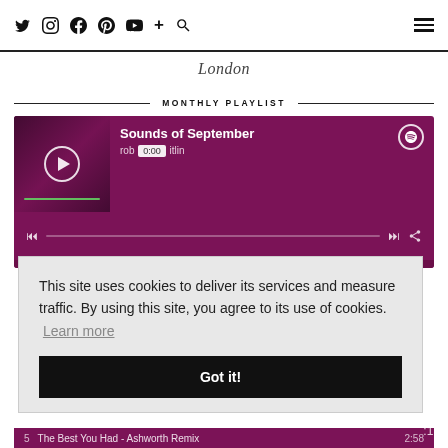Twitter Instagram Facebook Pinterest YouTube + Search [hamburger menu]
London
MONTHLY PLAYLIST
[Figure (screenshot): Spotify embedded player showing 'Sounds of September' playlist by rob...itlin, with purple/magenta background, play button, progress bar at 0:00, and Spotify logo]
This site uses cookies to deliver its services and measure traffic. By using this site, you agree to its use of cookies.  Learn more
Got it!
5    The Best You Had - Ashworth Remix    2:58